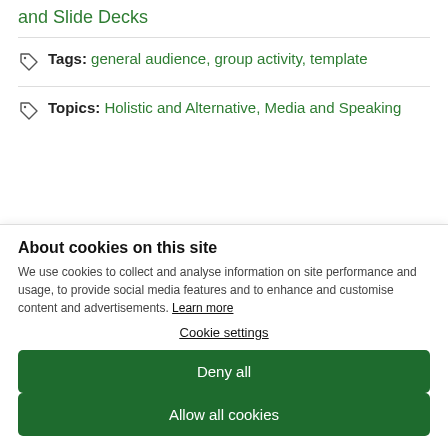and Slide Decks
Tags: general audience, group activity, template
Topics: Holistic and Alternative, Media and Speaking
About cookies on this site
We use cookies to collect and analyse information on site performance and usage, to provide social media features and to enhance and customise content and advertisements. Learn more
Cookie settings
Deny all
Allow all cookies